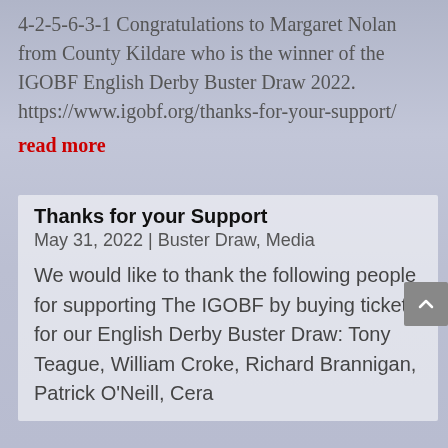4-2-5-6-3-1 Congratulations to Margaret Nolan from County Kildare who is the winner of the IGOBF English Derby Buster Draw 2022. https://www.igobf.org/thanks-for-your-support/
read more
Thanks for your Support
May 31, 2022 | Buster Draw, Media
We would like to thank the following people for supporting The IGOBF by buying tickets for our English Derby Buster Draw: Tony Teague, William Croke, Richard Brannigan, Patrick O'Neill, Cera